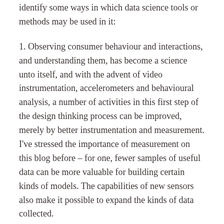identify some ways in which data science tools or methods may be used in it:
1. Observing consumer behaviour and interactions, and understanding them, has become a science unto itself, and with the advent of video instrumentation, accelerometers and behavioural analysis, a number of activities in this first step of the design thinking process can be improved, merely by better instrumentation and measurement. I've stressed the importance of measurement on this blog before – for one, fewer samples of useful data can be more valuable for building certain kinds of models. The capabilities of new sensors also make it possible to expand the kinds of data collected.
2. Developing theories of behaviour (hypotheses) may be validated using various Bayesian (or even